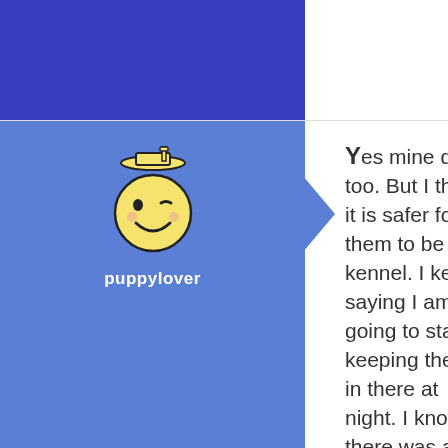[Figure (screenshot): Top partial post with blue avatar area, partially visible]
[Figure (illustration): puppylover avatar: winking smiley face with graduation cap, on blue arrow background]
puppylover
Yes mine do too. But I think it is safer for them to be in a kennel. I keep saying I am going to start keeping them in there at night. I know if there was a fire in the house I would always know they are in the kennel and I could get them out. That is one thing to think about.
No comments
[Figure (illustration): Like button with count 0 and thumbs up icon]
[Figure (illustration): Bottom partial post avatar: winking smiley face on lighter blue background]
Yes.. unfortunatly. I finally got her to leave this morning